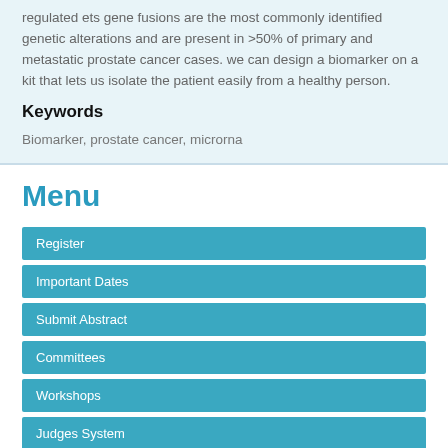regulated ets gene fusions are the most commonly identified genetic alterations and are present in >50% of primary and metastatic prostate cancer cases. we can design a biomarker on a kit that lets us isolate the patient easily from a healthy person.
Keywords
Biomarker, prostate cancer, microrna
Menu
Register
Important Dates
Submit Abstract
Committees
Workshops
Judges System
Links